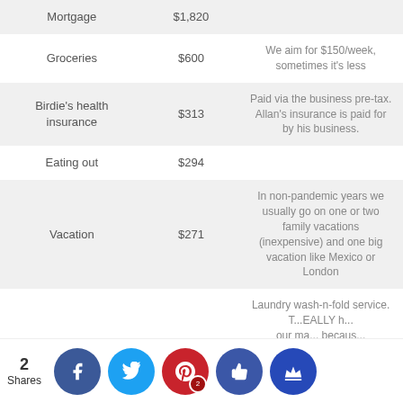|  | Amount | Notes |
| --- | --- | --- |
| Mortgage | $1,820 |  |
| Groceries | $600 | We aim for $150/week, sometimes it's less |
| Birdie's health insurance | $313 | Paid via the business pre-tax. Allan's insurance is paid for by his business. |
| Eating out | $294 |  |
| Vacation | $271 | In non-pandemic years we usually go on one or two family vacations (inexpensive) and one big vacation like Mexico or London |
|  |  | Laundry wash-n-fold service. T...EALLY h...our ma... becaus... |